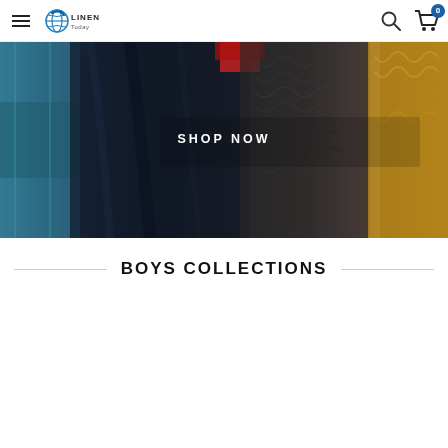Linen Today — navigation bar with hamburger menu, logo, search icon, and cart (0 items)
[Figure (photo): Hero banner showing folded textiles/clothing — teal, navy, dark grey, charcoal knit, and golden/mustard fabrics arranged in a flat lay. White text 'SHOP NOW' centered over image.]
BOYS COLLECTIONS